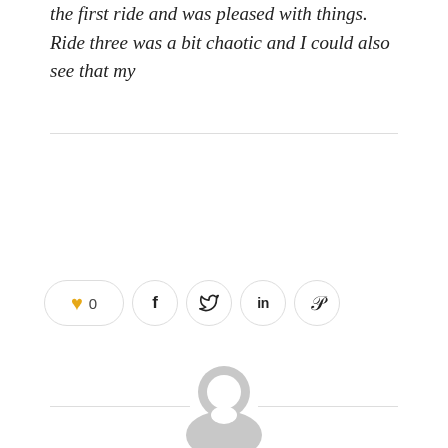the first ride and was pleased with things. Ride three was a bit chaotic and I could also see that my
[Figure (infographic): Social sharing bar with heart/like button showing 0 likes, and share buttons for Facebook, Twitter, LinkedIn, and Pinterest]
[Figure (illustration): Generic user avatar (gray silhouette of person head and shoulders) centered on page with horizontal divider lines on either side]